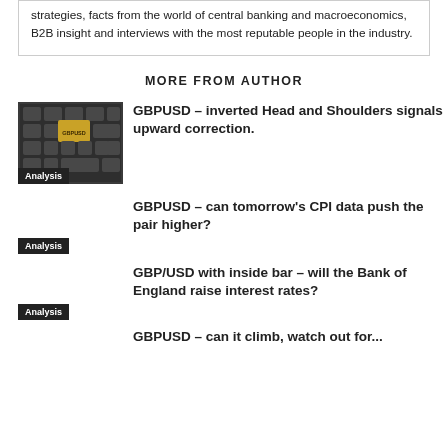strategies, facts from the world of central banking and macroeconomics, B2B insight and interviews with the most reputable people in the industry.
MORE FROM AUTHOR
[Figure (photo): Keyboard with a golden GBPUSD key highlighted, with Analysis badge overlay]
GBPUSD – inverted Head and Shoulders signals upward correction.
GBPUSD – can tomorrow's CPI data push the pair higher?
GBP/USD with inside bar – will the Bank of England raise interest rates?
GBPUSD – can it climb, watch out for...